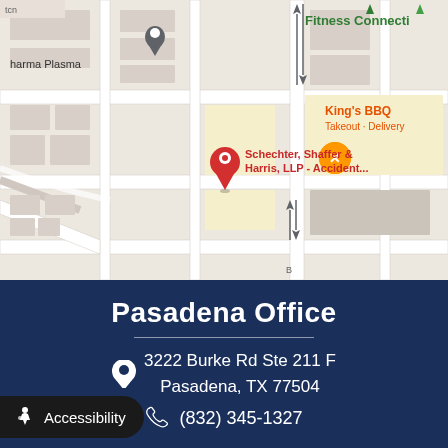[Figure (map): Google Maps screenshot showing the location of Schechter, Shaffer & Harris, LLP - Accident... law firm, with nearby landmarks including pharma Plasma, Fitness Connecti, King's BBQ (Takeout Delivery), and Clinical Pathology Laboratories (CPL). A red location pin marks the law firm's position.]
Pasadena Office
3222 Burke Rd Ste 211 F
Pasadena, TX 77504
(832) 345-1327
Accessibility